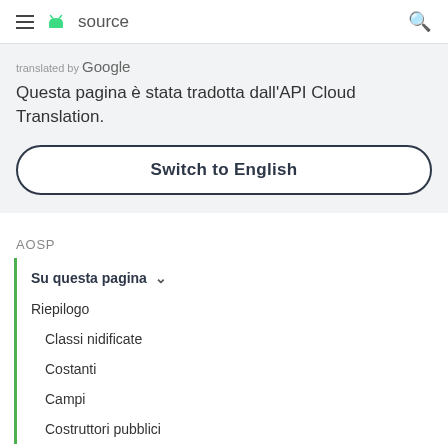≡ android source 🔍
translated by Google
Questa pagina è stata tradotta dall'API Cloud Translation.
Switch to English
AOSP
Su questa pagina ∨
Riepilogo
Classi nidificate
Costanti
Campi
Costruttori pubblici